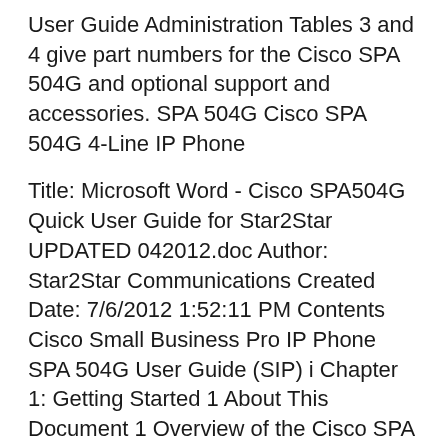User Guide Administration Tables 3 and 4 give part numbers for the Cisco SPA 504G and optional support and accessories. SPA 504G Cisco SPA 504G 4-Line IP Phone
Title: Microsoft Word - Cisco SPA504G Quick User Guide for Star2Star UPDATED 042012.doc Author: Star2Star Communications Created Date: 7/6/2012 1:52:11 PM Contents Cisco Small Business Pro IP Phone SPA 504G User Guide (SIP) i Chapter 1: Getting Started 1 About This Document 1 Overview of the Cisco SPA 504G 3
Cisco SPA 504G Quick Start Guide B· File Icon Cisco SPA504G IP operate your new